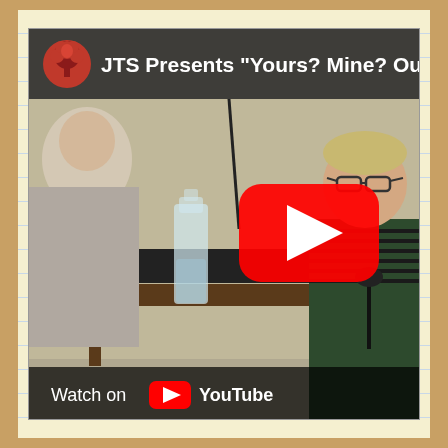[Figure (screenshot): YouTube video thumbnail showing a panel discussion. Text overlay at top reads: JTS Presents "Yours? Mine? Ours? Economie..." with a red tree logo on the left. Two people are visible at a table — one in a striped sweater speaking into a microphone. A glass water carafe is on the table. A large YouTube play button (red circle with white triangle) is overlaid in the center-right. At the bottom is a 'Watch on YouTube' bar with the YouTube logo.]